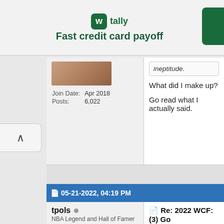[Figure (other): Tally app advertisement banner - Fast credit card payoff]
Join Date: Apr 2018
Posts: 6,022
ineptitude.
What did I make up?
Go read what I actually said.
05-21-2022, 04:19 PM
tpols
NBA Legend and Hall of Famer
[Figure (illustration): Avatar of cartoon duck character (Daffy Duck style) with orange/red background]
Re: 2022 WCF: (3) Go Mavericks
The entire play was crea stats from it.
+/- shows it. And Curry has sc
Join Date: Jun 2010